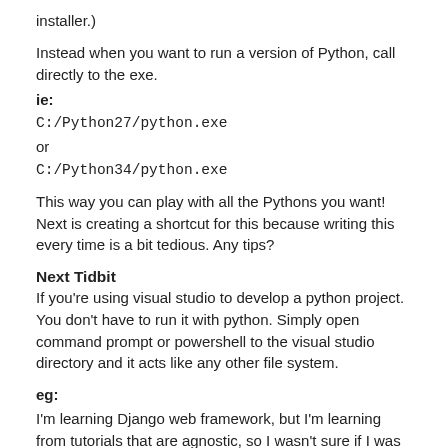installer.)
Instead when you want to run a version of Python, call directly to the exe.
ie:
C:/Python27/python.exe
or
C:/Python34/python.exe
This way you can play with all the Pythons you want!
Next is creating a shortcut for this because writing this every time is a bit tedious. Any tips?
Next Tidbit
If you're using visual studio to develop a python project. You don't have to run it with python. Simply open command prompt or powershell to the visual studio directory and it acts like any other file system.
eg:
I'm learning Django web framework, but I'm learning from tutorials that are agnostic, so I wasn't sure if I was going to learn how to run the server or complete unit tests.
But no problems so far. Just treat visual studio like Sublime, and use a